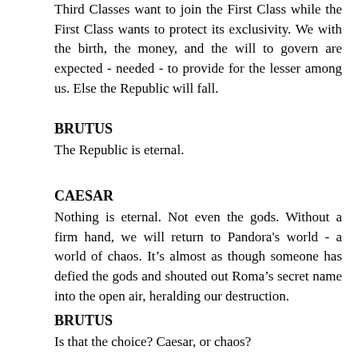Third Classes want to join the First Class while the First Class wants to protect its exclusivity. We with the birth, the money, and the will to govern are expected - needed - to provide for the lesser among us. Else the Republic will fall.
BRUTUS
The Republic is eternal.
CAESAR
Nothing is eternal. Not even the gods. Without a firm hand, we will return to Pandora's world - a world of chaos. It's almost as though someone has defied the gods and shouted out Roma's secret name into the open air, heralding our destruction.
BRUTUS
Is that the choice? Caesar, or chaos?
CAESAR
Not a palatable choice, I'll confess. But you must see that a